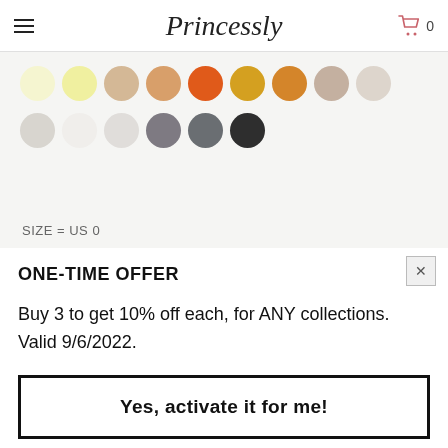Princessly
[Figure (illustration): Color swatch circles in two rows: top row shows yellow-white, light yellow, tan/beige, light orange, orange, golden yellow, orange-tan, taupe, light gray; bottom row shows light gray, white, off-white, medium gray, steel gray, dark charcoal]
SIZE = US 0
ONE-TIME OFFER
Buy 3 to get 10% off each, for ANY collections. Valid 9/6/2022.
Yes, activate it for me!
Applied at final checkout